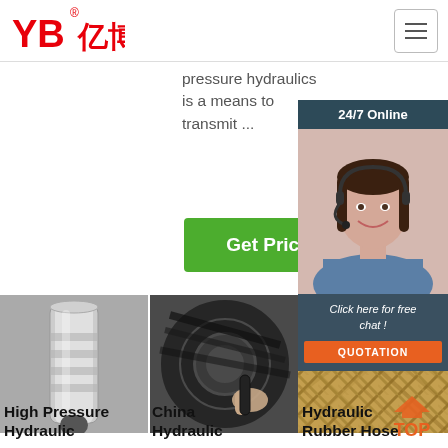[Figure (logo): YB亿博 logo in red text]
pressure hydraulics is a means to transmit ...
Get Price
[Figure (photo): Customer service representative with headset, 24/7 Online overlay, Click here for free chat!, QUOTATION button]
[Figure (photo): High pressure hydraulic fitting close-up]
[Figure (photo): China hydraulic hoses bundle]
[Figure (photo): Hydraulic rubber hose braided texture]
High Pressure Hydraulic
China Hydraulic
Hydraulic Rubber Hose